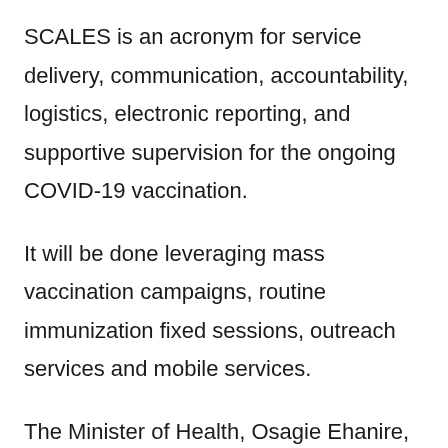SCALES is an acronym for service delivery, communication, accountability, logistics, electronic reporting, and supportive supervision for the ongoing COVID-19 vaccination.
It will be done leveraging mass vaccination campaigns, routine immunization fixed sessions, outreach services and mobile services.
The Minister of Health, Osagie Ehanire, said Nigeria had an adequate stock of the